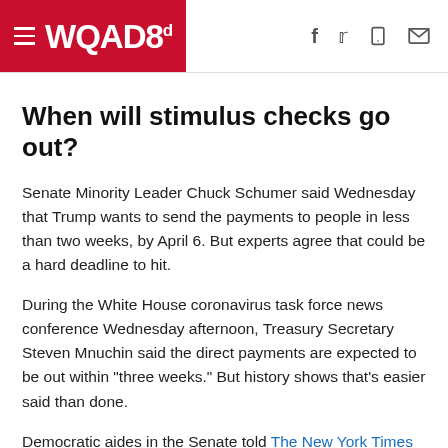WQAD8
When will stimulus checks go out?
Senate Minority Leader Chuck Schumer said Wednesday that Trump wants to send the payments to people in less than two weeks, by April 6. But experts agree that could be a hard deadline to hit.
During the White House coronavirus task force news conference Wednesday afternoon, Treasury Secretary Steven Mnuchin said the direct payments are expected to be out within "three weeks." But history shows that's easier said than done.
Democratic aides in the Senate told The New York Times that those with direct-deposit info on-file with the IRS